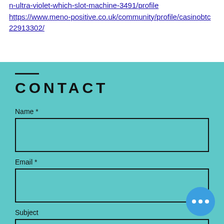n-ultra-violet-which-slot-machine-3491/profile https://www.meno-positive.co.uk/community/profile/casinobtc22913302/
CONTACT
Name *
Email *
Subject
Message